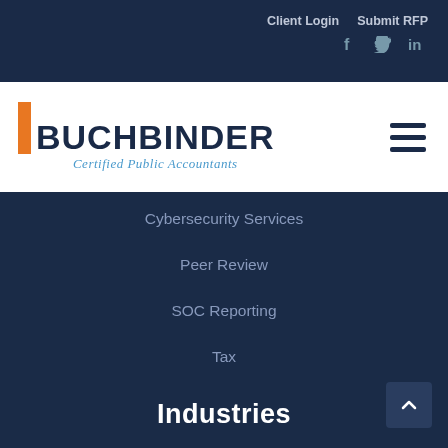Client Login   Submit RFP
[Figure (logo): Buchbinder Certified Public Accountants logo with orange vertical bar and dark navy text]
Cybersecurity Services
Peer Review
SOC Reporting
Tax
Valuation, Litigation & Forensic
Industries